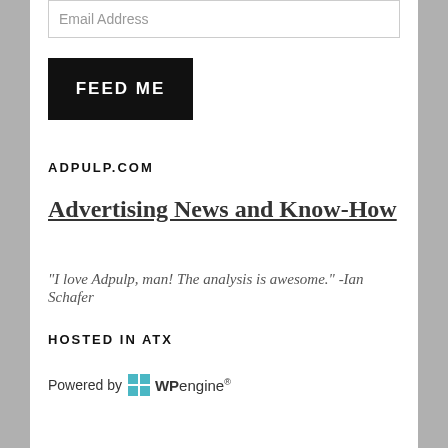Email Address
FEED ME
ADPULP.COM
Advertising News and Know-How
“I love Adpulp, man! The analysis is awesome.” -Ian Schafer
HOSTED IN ATX
Powered by WPengine®